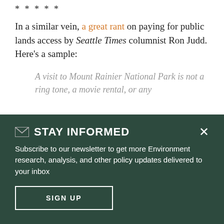rejection of Kulongoski's proposal.
****
In a similar vein, a great rant on paying for public lands access by Seattle Times columnist Ron Judd. Here's a sample:
A visit to Mount Rainier National Park is not a ring tone, a movie rental, or any
✉ STAY INFORMED
Subscribe to our newsletter to get more Environment research, analysis, and other policy updates delivered to your inbox
SIGN UP